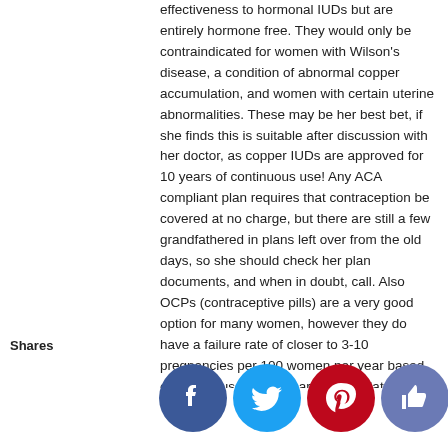effectiveness to hormonal IUDs but are entirely hormone free. They would only be contraindicated for women with Wilson's disease, a condition of abnormal copper accumulation, and women with certain uterine abnormalities. These may be her best bet, if she finds this is suitable after discussion with her doctor, as copper IUDs are approved for 10 years of continuous use! Any ACA compliant plan requires that contraception be covered at no charge, but there are still a few grandfathered in plans left over from the old days, so she should check her plan documents, and when in doubt, call. Also OCPs (contraceptive pills) are a very good option for many women, however they do have a failure rate of closer to 3-10 pregnancies per 100 women per year based on typical use and research study data. Unfortunately a method that relies on taking a medication at the same time each and every day is prone to more failures. The Nexplanon, which is a 3 year implant in the arm, also has a comparable failure rate to IUDs, ie very low, and is approved for 3 years. This can be a good option for some who doesn't like the idea of an implant in her uterus. She should make sure to make an appointment with an OB who can provide all of the options as best are, but some clinics with systems
Shares
[Figure (infographic): Social sharing buttons: Facebook (blue circle), Twitter (light blue circle), Pinterest (red circle), Like/thumbs-up (grey-blue circle), Crown (dark circle)]